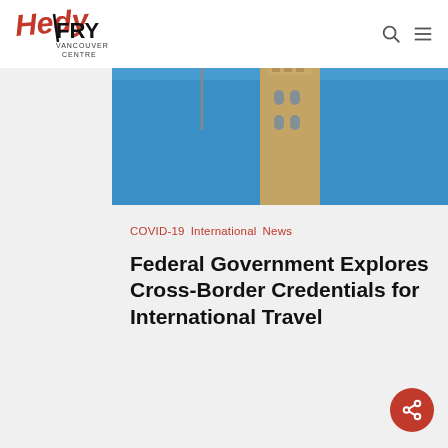Hedy Fry Vancouver Centre — navigation header with logo, search, and menu icons
[Figure (photo): Parliament Hill Peace Tower clock tower with Canadian flag against blue sky]
COVID-19  International  News
Federal Government Explores Cross-Border Credentials for International Travel